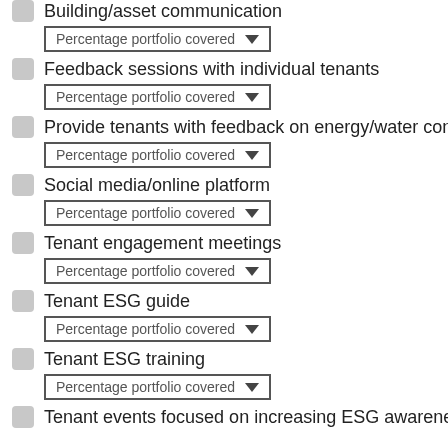Building/asset communication
Feedback sessions with individual tenants
Provide tenants with feedback on energy/water consu…
Social media/online platform
Tenant engagement meetings
Tenant ESG guide
Tenant ESG training
Tenant events focused on increasing ESG awareness